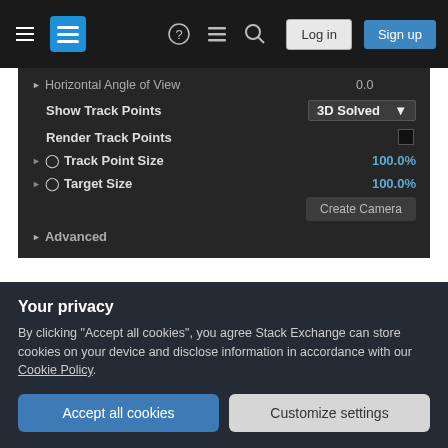[Figure (screenshot): Dark-themed navigation bar with hamburger menu, Stack Exchange logo, help icon, chat icon, search icon, Log in button, and Sign up button]
[Figure (screenshot): Dark UI panel showing camera tracking properties: Horizontal Angle of View (0.0), Show Track Points (3D Solved dropdown), Render Track Points (checkbox), Track Point Size (100.0%), Target Size (100.0%), Create Camera button, Advanced section]
Hit that button, and a 3D camera will be created. This camera matches the position of the camera that took the shot (in theory). So now if you add your graphic elements as 3D layers, the 3D camera will
Your privacy
By clicking "Accept all cookies", you agree Stack Exchange can store cookies on your device and disclose information in accordance with our Cookie Policy.
Accept all cookies
Customize settings